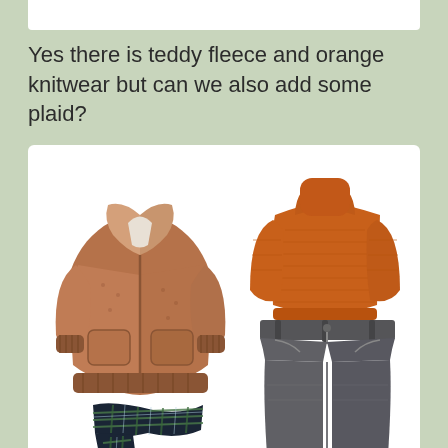Yes there is teddy fleece and orange knitwear but can we also add some plaid?
[Figure (photo): Flat lay of autumn/winter clothing: a brown teddy fleece zip-up bomber jacket (left), an orange turtleneck knit sweater (top right), dark grey straight-leg jeans (bottom right), and a dark plaid tartan scarf (bottom left), all arranged on a white background.]